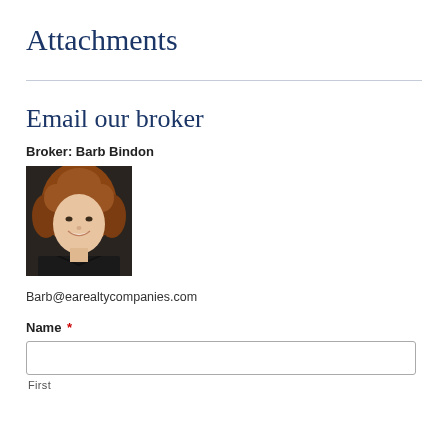Attachments
Email our broker
Broker: Barb Bindon
[Figure (photo): Headshot photo of broker Barb Bindon, a woman with curly reddish-brown hair, wearing a dark jacket, smiling.]
Barb@earealtycompanies.com
Name *
First